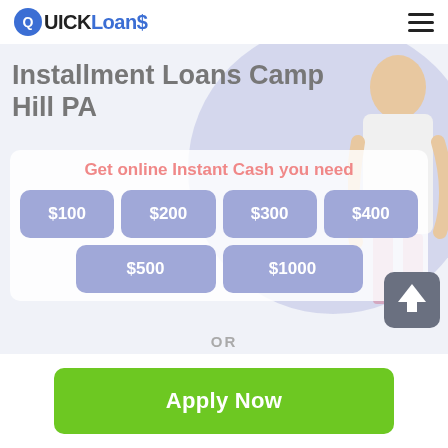QUICK Loans$
Installment Loans Camp Hill PA
Get online Instant Cash you need
$100
$200
$300
$400
$500
$1000
OR
Apply Now
Applying does NOT affect your credit score!
No credit check to apply.